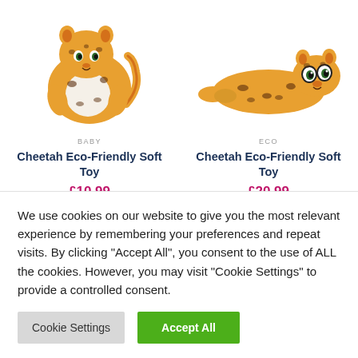[Figure (photo): Baby sitting cheetah stuffed plush soft toy with orange and black spotted fur, white belly]
[Figure (photo): Lying down cheetah stuffed plush eco soft toy with orange and black spotted fur and large eyes]
BABY
ECO
Cheetah Eco-Friendly Soft Toy
Cheetah Eco-Friendly Soft Toy
£10.99
£20.99
We use cookies on our website to give you the most relevant experience by remembering your preferences and repeat visits. By clicking "Accept All", you consent to the use of ALL the cookies. However, you may visit "Cookie Settings" to provide a controlled consent.